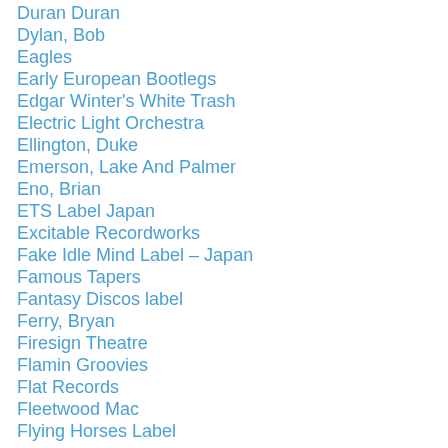Duran Duran
Dylan, Bob
Eagles
Early European Bootlegs
Edgar Winter's White Trash
Electric Light Orchestra
Ellington, Duke
Emerson, Lake And Palmer
Eno, Brian
ETS Label Japan
Excitable Recordworks
Fake Idle Mind Label – Japan
Famous Tapers
Fantasy Discos label
Ferry, Bryan
Firesign Theatre
Flamin Groovies
Flat Records
Fleetwood Mac
Flying Horses Label